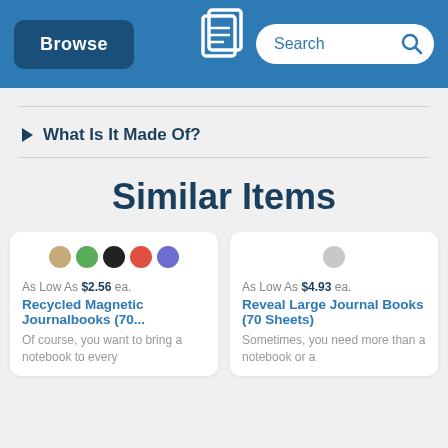Browse | [logo] | Search
What Is It Made Of?
Similar Items
As Low As $2.56 ea.
Recycled Magnetic Journalbooks (70...
Of course, you want to bring a notebook to every
As Low As $4.93 ea.
Reveal Large Journal Books (70 Sheets)
Sometimes, you need more than a notebook or a